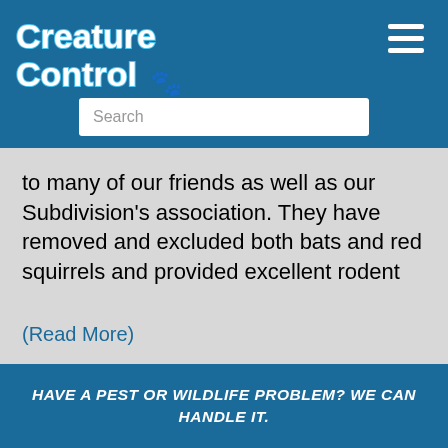Creature Control
to many of our friends as well as our Subdivision's association. They have removed and excluded both bats and red squirrels and provided excellent rodent
(Read More)
- Naomi T., Brighton, MI
HAVE A PEST OR WILDLIFE PROBLEM? WE CAN HANDLE IT.